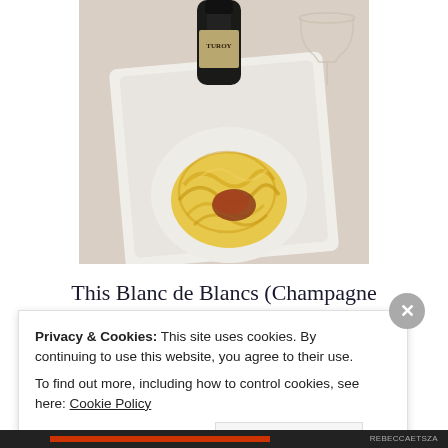[Figure (photo): Overhead photo of a white square plate with a nest of yellow pasta (tagliatelle or pappardelle) topped with a piece of caramelized or browned ingredient, beside a dark wine bottle labeled TUROY and an empty wine glass stem, all on a light surface.]
This Blanc de Blancs (Champagne
Privacy & Cookies: This site uses cookies. By continuing to use this website, you agree to their use.
To find out more, including how to control cookies, see here: Cookie Policy
Close and accept